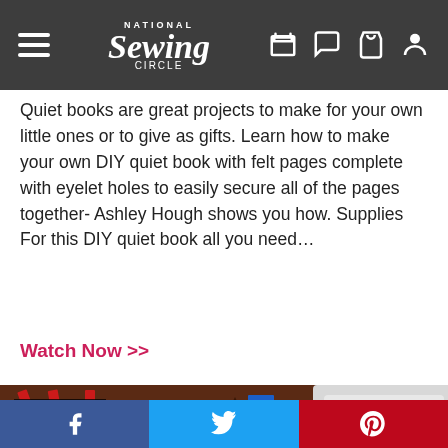National Sewing Circle
Quiet books are great projects to make for your own little ones or to give as gifts. Learn how to make your own DIY quiet book with felt pages complete with eyelet holes to easily secure all of the pages together- Ashley Hough shows you how. Supplies For this DIY quiet book all you need…
Watch Now >>
[Figure (screenshot): Video thumbnail showing a person's hands holding felt quiet book pages with colorful ribbon tags and a sewing machine in the background. PREMIUM badge visible. Play button overlay.]